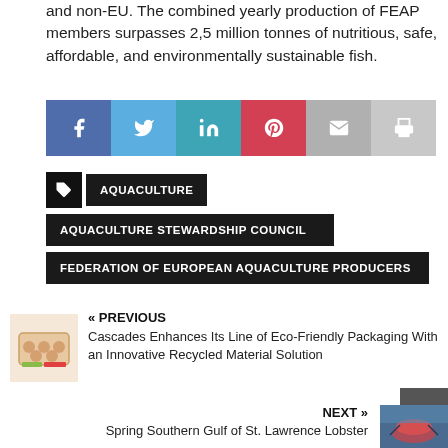national fish farming associations from 25 countries, both EU and non-EU. The combined yearly production of FEAP members surpasses 2,5 million tonnes of nutritious, safe, affordable, and environmentally sustainable fish.
[Figure (infographic): Social sharing buttons: Facebook (blue), Twitter (light blue), LinkedIn (teal), Pinterest (red), Email (grey), Print (light grey)]
AQUACULTURE
AQUACULTURE STEWARDSHIP COUNCIL
FEDERATION OF EUROPEAN AQUACULTURE PRODUCERS
« PREVIOUS
Cascades Enhances Its Line of Eco-Friendly Packaging With an Innovative Recycled Material Solution
NEXT »
Spring Southern Gulf of St. Lawrence Lobster